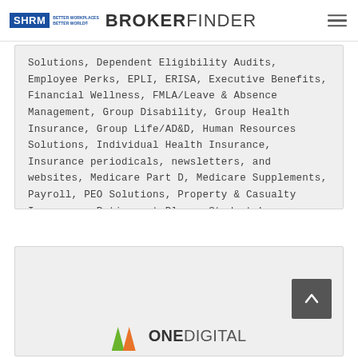SHRM BROKERFINDER
Solutions, Dependent Eligibility Audits, Employee Perks, EPLI, ERISA, Executive Benefits, Financial Wellness, FMLA/Leave & Absence Management, Group Disability, Group Health Insurance, Group Life/AD&D, Human Resources Solutions, Individual Health Insurance, Insurance periodicals, newsletters, and websites, Medicare Part D, Medicare Supplements, Payroll, PEO Solutions, Property & Casualty Insurance, Retirement Plans, Student Loan Benefits, Umbrella Coverage, Voluntary Benefits, Workers' Compensation Insurance
VIEW DETAILS
[Figure (logo): OneDigital company logo with triangular icon in orange/green colors and ONEDIGITAL text]